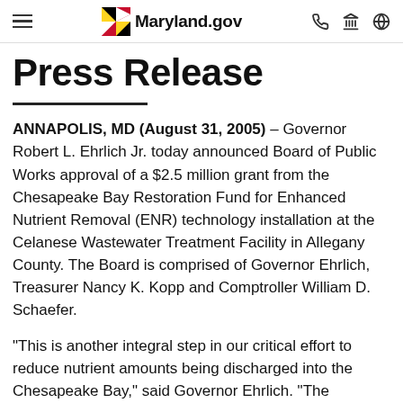Maryland.gov
Press Release
ANNAPOLIS, MD (August 31, 2005) – Governor Robert L. Ehrlich Jr. today announced Board of Public Works approval of a $2.5 million grant from the Chesapeake Bay Restoration Fund for Enhanced Nutrient Removal (ENR) technology installation at the Celanese Wastewater Treatment Facility in Allegany County. The Board is comprised of Governor Ehrlich, Treasurer Nancy K. Kopp and Comptroller William D. Schaefer.
“This is another integral step in our critical effort to reduce nutrient amounts being discharged into the Chesapeake Bay,” said Governor Ehrlich. “The